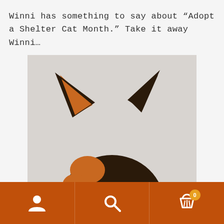Winni has something to say about “Adopt a Shelter Cat Month.” Take it away Winni…
[Figure (photo): A calico cat (black, orange, and white) sitting and looking directly at the camera with wide yellow-green eyes, set against a light background with some papers visible underneath.]
Navigation bar with person icon, search icon, and shopping cart icon with badge showing 0